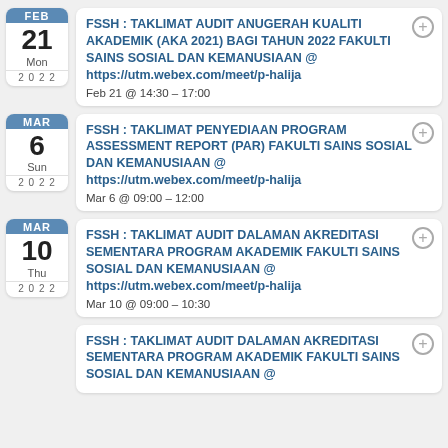FEB 21 Mon 2022 – FSSH : TAKLIMAT AUDIT ANUGERAH KUALITI AKADEMIK (AKA 2021) BAGI TAHUN 2022 FAKULTI SAINS SOSIAL DAN KEMANUSIAAN @ https://utm.webex.com/meet/p-halija | Feb 21 @ 14:30 – 17:00
MAR 6 Sun 2022 – FSSH : TAKLIMAT PENYEDIAAN PROGRAM ASSESSMENT REPORT (PAR) FAKULTI SAINS SOSIAL DAN KEMANUSIAAN @ https://utm.webex.com/meet/p-halija | Mar 6 @ 09:00 – 12:00
MAR 10 Thu 2022 – FSSH : TAKLIMAT AUDIT DALAMAN AKREDITASI SEMENTARA PROGRAM AKADEMIK FAKULTI SAINS SOSIAL DAN KEMANUSIAAN @ https://utm.webex.com/meet/p-halija | Mar 10 @ 09:00 – 10:30
FSSH : TAKLIMAT AUDIT DALAMAN AKREDITASI SEMENTARA PROGRAM AKADEMIK FAKULTI SAINS SOSIAL DAN KEMANUSIAAN @ (partial)